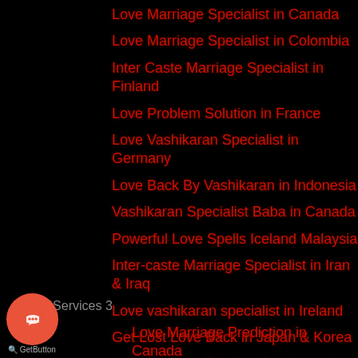Love Marriage Specialist in Canada
Love Marriage Specialist in Colombia
Inter Caste Marriage Specialist in Finland
Love Problem Solution in France
Love Vashikaran Specialist in Germany
Love Back By Vashikaran in Indonesia
Vashikaran Specialist Baba in Canada
Powerful Love Spells Iceland Malaysia
Inter-caste Marriage Specialist in Iran & Iraq
Love vashikaran specialist in Ireland
Get Lost Love Back in Japan & Korea
Love Problem Solution Astrologer in Kuwait
Our Services 3
Love Marriage Prediction in Canada
Love Marriage Astrology in the UK
Love Breakup Solution Baba Ji in Pune
Love Breakup Solution Baba Ji in Mumbai